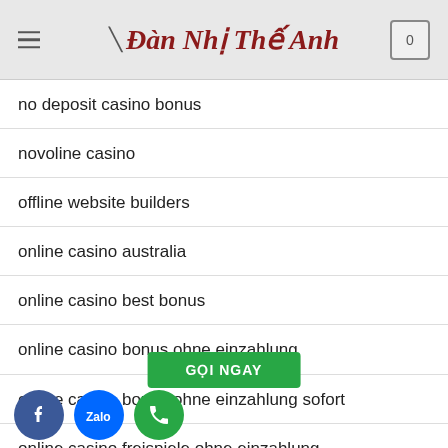Đàn Nhị Thế Anh
no deposit casino bonus
novoline casino
offline website builders
online casino australia
online casino best bonus
online casino bonus ohne einzahlung
online casino bonus ohne einzahlung sofort
online casino freispiele ohne einzahlung
online casino kostenlos
GỌI NGAY